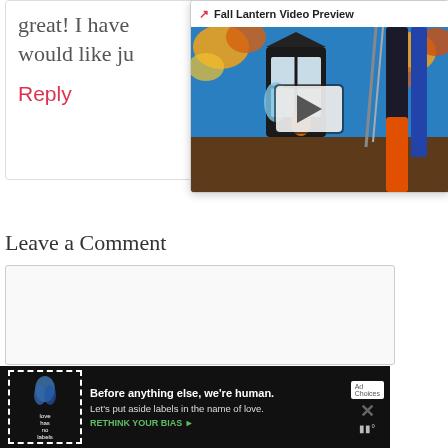great! I have would like ju
[Figure (screenshot): Fall Lantern Video Preview popup with thumbnail showing a painted fall lantern artwork on blue background with art supplies]
Reply
Leave a Comment
(comment textarea box)
[Figure (infographic): Ad banner: Before anything else, we're human. Let's put aside labels in the name of love. RETHINK YOUR BIAS. Love Has No Labels ad with X close button.]